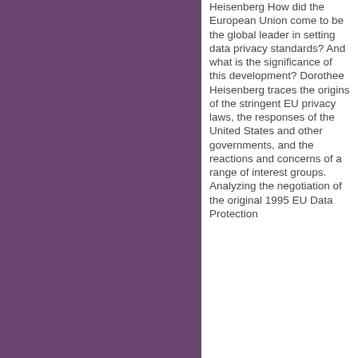Heisenberg How did the European Union come to be the global leader in setting data privacy standards? And what is the significance of this development? Dorothee Heisenberg traces the origins of the stringent EU privacy laws, the responses of the United States and other governments, and the reactions and concerns of a range of interest groups. Analyzing the negotiation of the original 1995 EU Data Protection